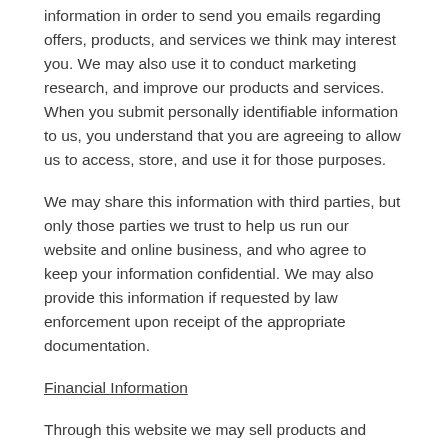information in order to send you emails regarding offers, products, and services we think may interest you. We may also use it to conduct marketing research, and improve our products and services. When you submit personally identifiable information to us, you understand that you are agreeing to allow us to access, store, and use it for those purposes.
We may share this information with third parties, but only those parties we trust to help us run our website and online business, and who agree to keep your information confidential. We may also provide this information if requested by law enforcement upon receipt of the appropriate documentation.
Financial Information
Through this website we may sell products and services. In order to purchase our products and services you will be asked to provide financial information. Typically this information will be collected